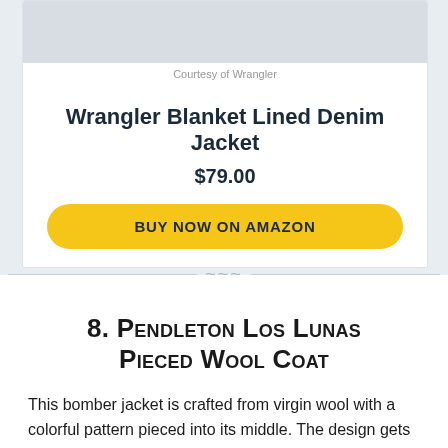[Figure (photo): Gray placeholder image area for product photo]
Courtesy of Wrangler
Wrangler Blanket Lined Denim Jacket
$79.00
BUY NOW ON AMAZON
8. Pendleton Los Lunas Pieced Wool Coat
This bomber jacket is crafted from virgin wool with a colorful pattern pieced into its middle. The design gets its name from the New Mexico town of Los Lunas.